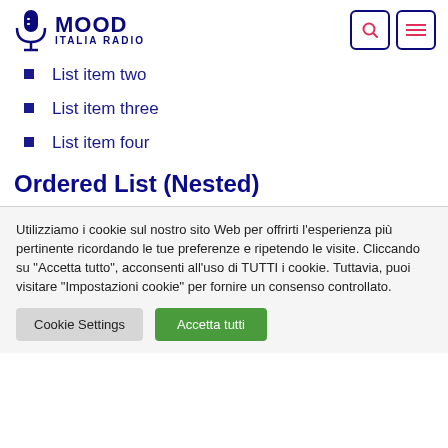MOOD ITALIA RADIO
List item two
List item three
List item four
Ordered List (Nested)
Utilizziamo i cookie sul nostro sito Web per offrirti l'esperienza più pertinente ricordando le tue preferenze e ripetendo le visite. Cliccando su "Accetta tutto", acconsenti all'uso di TUTTI i cookie. Tuttavia, puoi visitare "Impostazioni cookie" per fornire un consenso controllato.
Cookie Settings | Accetta tutti